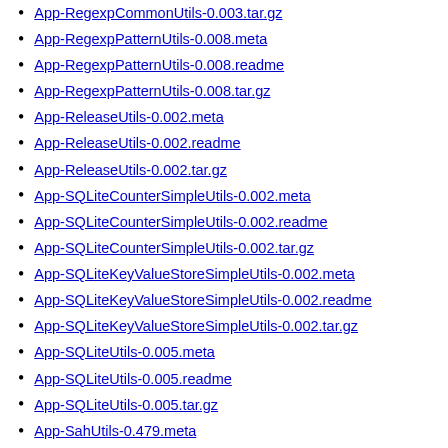App-RegexpCommonUtils-0.003.tar.gz
App-RegexpPatternUtils-0.008.meta
App-RegexpPatternUtils-0.008.readme
App-RegexpPatternUtils-0.008.tar.gz
App-ReleaseUtils-0.002.meta
App-ReleaseUtils-0.002.readme
App-ReleaseUtils-0.002.tar.gz
App-SQLiteCounterSimpleUtils-0.002.meta
App-SQLiteCounterSimpleUtils-0.002.readme
App-SQLiteCounterSimpleUtils-0.002.tar.gz
App-SQLiteKeyValueStoreSimpleUtils-0.002.meta
App-SQLiteKeyValueStoreSimpleUtils-0.002.readme
App-SQLiteKeyValueStoreSimpleUtils-0.002.tar.gz
App-SQLiteUtils-0.005.meta
App-SQLiteUtils-0.005.readme
App-SQLiteUtils-0.005.tar.gz
App-SahUtils-0.479.meta
App-SahUtils-0.479.readme
App-SahUtils-0.479.tar.gz
App-ScanPrereqs-0.005.meta
App-ScanPrereqs-0.005.readme
App-ScanPrereqs-0.005.tar.gz
App-ScreensaverUtils-0.010.meta
App-ScreensaverUtils-0.010.readme
App-ScreensaverUtils-0.010.tar.gz